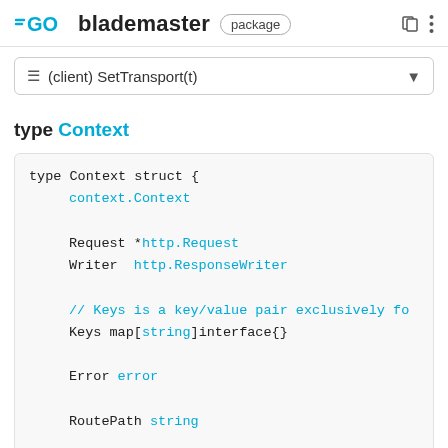GO blademaster package
≡ (client) SetTransport(t)
type Context
[Figure (screenshot): Go code block showing: type Context struct { context.Context; Request *http.Request; Writer http.ResponseWriter; // Keys is a key/value pair exclusively fo; Keys map[string]interface{}; Error error; RoutePath string; Params Params }]